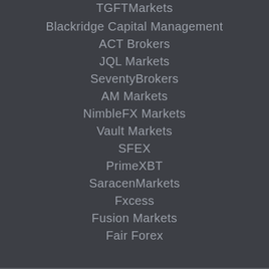TGFTMarkets
Blackridge Capital Management
ACT Brokers
JQL Markets
SeventyBrokers
AM Markets
NimbleFX Markets
Vault Markets
SFEX
PrimeXBT
SaracenMarkets
Fxcess
Fusion Markets
Fair Forex